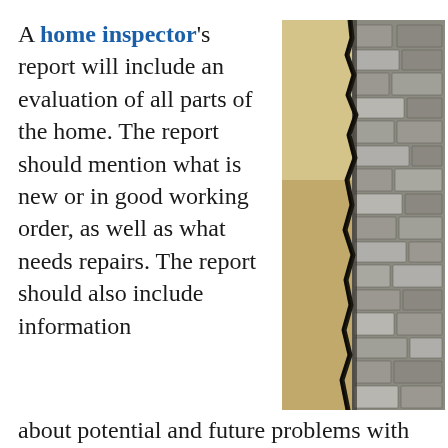A home inspector's report will include an evaluation of all parts of the home. The report should mention what is new or in good working order, as well as what needs repairs. The report should also include information about potential and future problems with the home, because this will help a buyer better assess future costs. While home inspection companies may recommend contractors for the...
[Figure (photo): Photo of a cracked wall showing a large crack between a smooth plastered/stucco surface on the left and an exposed stone masonry wall on the right, illustrating structural damage.]